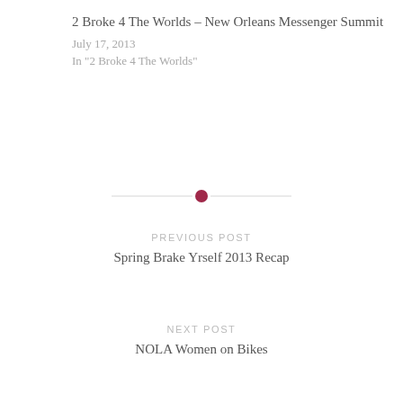2 Broke 4 The Worlds – New Orleans Messenger Summit
July 17, 2013
In "2 Broke 4 The Worlds"
PREVIOUS POST
Spring Brake Yrself 2013 Recap
NEXT POST
NOLA Women on Bikes